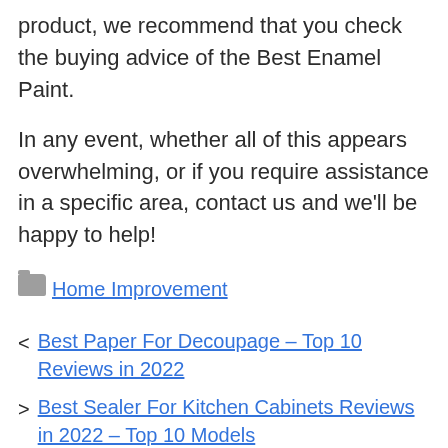product, we recommend that you check the buying advice of the Best Enamel Paint.
In any event, whether all of this appears overwhelming, or if you require assistance in a specific area, contact us and we'll be happy to help!
Home Improvement
Best Paper For Decoupage – Top 10 Reviews in 2022
Best Sealer For Kitchen Cabinets Reviews in 2022 – Top 10 Models